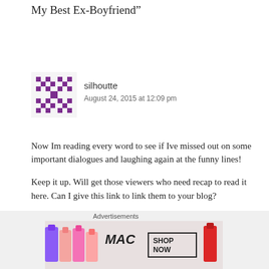My Best Ex-Boyfriend”
[Figure (illustration): Purple pixelated avatar/identicon for user silhoutte]
silhoutte
August 24, 2015 at 12:09 pm
Now Im reading every word to see if Ive missed out on some important dialogues and laughing again at the funny lines!

Keep it up. Will get those viewers who need recap to read it here. Can I give this link to link them to your blog?
★ Liked by 1 person
Reply ↓
Advertisements
[Figure (photo): MAC Cosmetics advertisement showing lipsticks with SHOP NOW button]